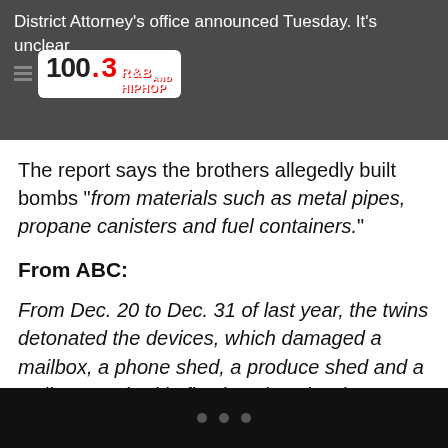District Attorney's office announced Tuesday. It's unclear whether the defendant has entered a plea.
The report says the brothers allegedly built bombs "from materials such as metal pipes, propane canisters and fuel containers."
From ABC:
From Dec. 20 to Dec. 31 of last year, the twins detonated the devices, which damaged a mailbox, a phone shed, a produce shed and a well-pump shed in five locations in Chester and Lancaster counties, the D.A. said.
• • •